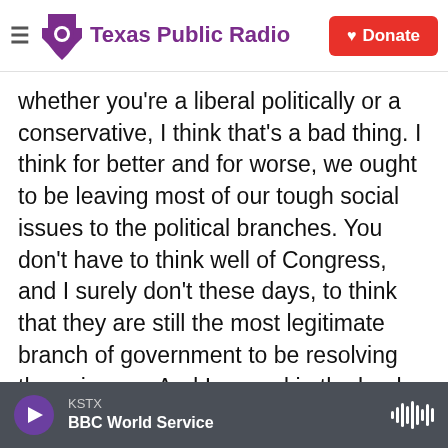Texas Public Radio | Donate
whether you're a liberal politically or a conservative, I think that's a bad thing. I think for better and for worse, we ought to be leaving most of our tough social issues to the political branches. You don't have to think well of Congress, and I surely don't these days, to think that they are still the most legitimate branch of government to be resolving these issues. And I argued in the book that Roe in the first place should not have been considered by the court 50 years ago. They should have ducked the issue.
That isn't because I'm anti-abortion. If I were a
KSTX  BBC World Service